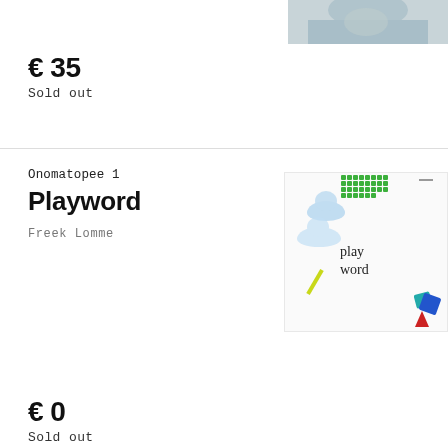[Figure (photo): Partial photo of a person in a grey/blue top, cropped at top-right corner]
€ 35
Sold out
Onomatopee 1
Playword
Freek Lomme
[Figure (photo): Book cover of 'Playword' with colorful graphic elements: clouds, green pixel blocks, yellow stick, colourful shapes, and the text 'play word' in serif font]
€ 0
Sold out